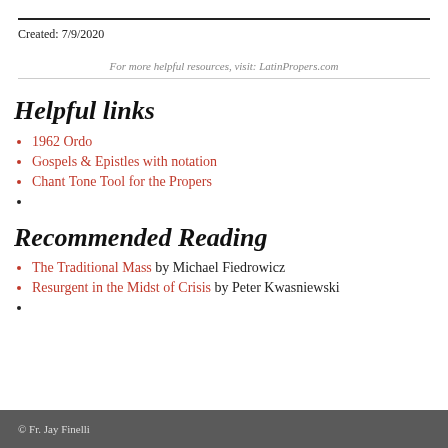Created: 7/9/2020
For more helpful resources, visit: LatinPropers.com
Helpful links
1962 Ordo
Gospels & Epistles with notation
Chant Tone Tool for the Propers
Recommended Reading
The Traditional Mass by Michael Fiedrowicz
Resurgent in the Midst of Crisis by Peter Kwasniewski
© Fr. Jay Finelli